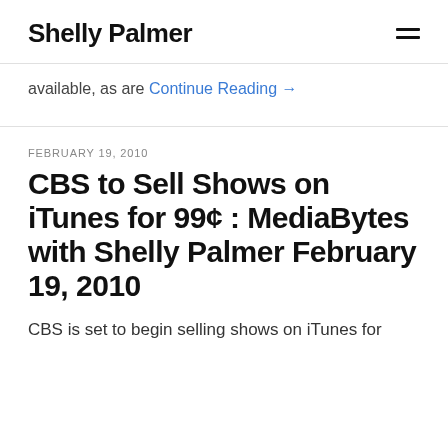Shelly Palmer
available, as are Continue Reading →
FEBRUARY 19, 2010
CBS to Sell Shows on iTunes for 99¢ : MediaBytes with Shelly Palmer February 19, 2010
CBS is set to begin selling shows on iTunes for